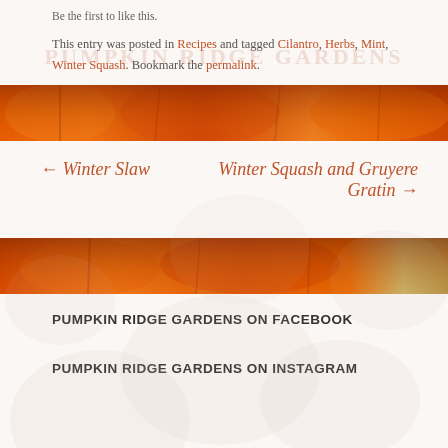Be the first to like this.
This entry was posted in Recipes and tagged Cilantro, Herbs, Mint, Winter Squash. Bookmark the permalink.
[Figure (photo): Pumpkin banner image showing orange pumpkins close-up]
← Winter Slaw
Winter Squash and Gruyere Gratin →
[Figure (photo): Second pumpkin banner image showing orange pumpkins close-up]
PUMPKIN RIDGE GARDENS ON FACEBOOK
PUMPKIN RIDGE GARDENS ON INSTAGRAM